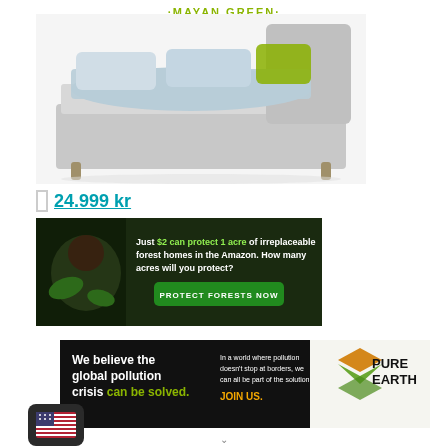MAYAN GREEN
[Figure (photo): Grey upholstered bed with headboard and light blue bedding, green pillow, photographed from an angle on white background]
24.999 kr
[Figure (photo): Amazon conservation advertisement: Just $2 can protect 1 acre of irreplaceable forest homes in the Amazon. How many acres will you protect? PROTECT FORESTS NOW. Shows a monkey in forest background.]
[Figure (photo): Pure Earth advertisement: We believe the global pollution crisis can be solved. In a world where pollution doesn't stop at borders, we can all be part of the solution. JOIN US. Pure Earth logo with diamond shape.]
[Figure (illustration): US flag icon in dark rounded square button]